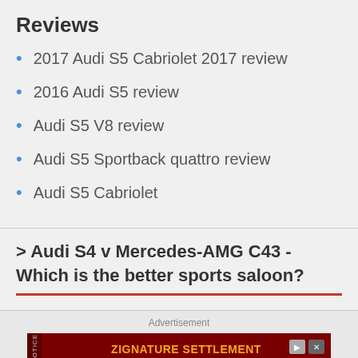Reviews
2017 Audi S5 Cabriolet 2017 review
2016 Audi S5 review
Audi S5 V8 review
Audi S5 Sportback quattro review
Audi S5 Cabriolet
> Audi S4 v Mercedes-AMG C43 - Which is the better sports saloon?
Advertisement
[Figure (other): Advertisement banner for Zignature Settlement legal notice. Dark red background with text: ZIGNATURE SETTLEMENT - If you purchased certain Zignature pet food products labeled as grain free or chicken free, you may be eligible for benefits]